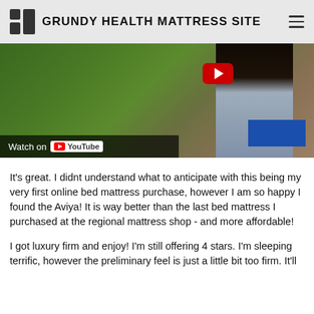GRUNDY HEALTH MATTRESS SITE
[Figure (screenshot): YouTube video thumbnail showing a woman outdoors with green foliage background, a red YouTube play button overlay at top, and a 'Watch on YouTube' overlay bar at the bottom left with a blue rectangle at bottom right.]
It's great. I didnt understand what to anticipate with this being my very first online bed mattress purchase, however I am so happy I found the Aviya! It is way better than the last bed mattress I purchased at the regional mattress shop - and more affordable!
I got luxury firm and enjoy! I'm still offering 4 stars. I'm sleeping terrific, however the preliminary feel is just a little bit too firm. It'll